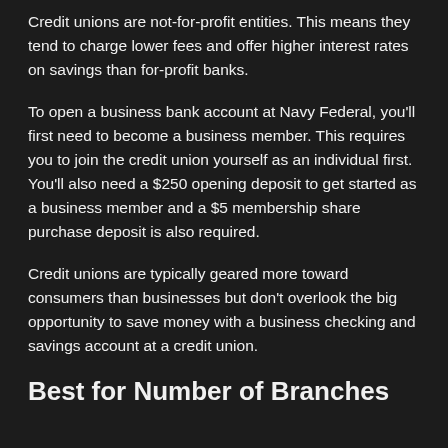Credit unions are not-for-profit entities. This means they tend to charge lower fees and offer higher interest rates on savings than for-profit banks.
To open a business bank account at Navy Federal, you'll first need to become a business member. This requires you to join the credit union yourself as an individual first. You'll also need a $250 opening deposit to get started as a business member and a $5 membership share purchase deposit is also required.
Credit unions are typically geared more toward consumers than businesses but don't overlook the big opportunity to save money with a business checking and savings account at a credit union.
Best for Number of Branches